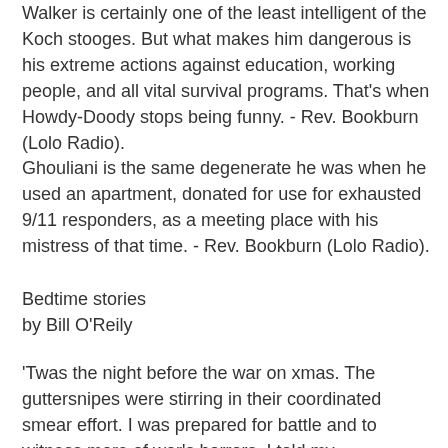Walker is certainly one of the least intelligent of the Koch stooges. But what makes him dangerous is his extreme actions against education, working people, and all vital survival programs. That's when Howdy-Doody stops being funny. - Rev. Bookburn (Lolo Radio).
Ghouliani is the same degenerate he was when he used an apartment, donated for use for exhausted 9/11 responders, as a meeting place with his mistress of that time. - Rev. Bookburn (Lolo Radio).
Bedtime stories
by Bill O'Reily
'Twas the night before the war on xmas. The guttersnipes were stirring in their coordinated smear effort. I was prepared for battle and to witness more of war's horrors. I told my